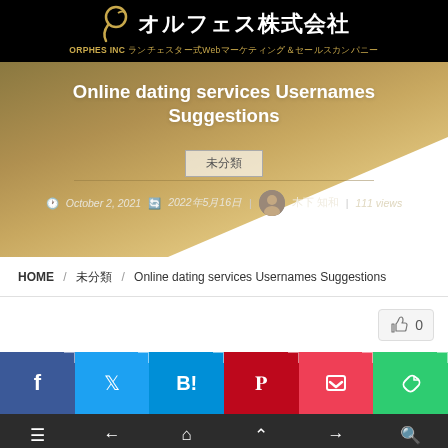オルフェス株式会社 ORPHES INC ランチェスター式Webマーケティング＆セールスカンパニー
Online dating services Usernames Suggestions
未分類
October 2, 2021　2022年5月16日　木下 知和　111 views
HOME / 未分類 / Online dating services Usernames Suggestions
[Figure (screenshot): Like button with thumbs up icon and count 0]
[Figure (screenshot): Social sharing buttons: Facebook, Twitter, Hatena Bookmark, Pinterest, Pocket, Evernote]
メニュー　前へ　ホーム　　次へ　検索